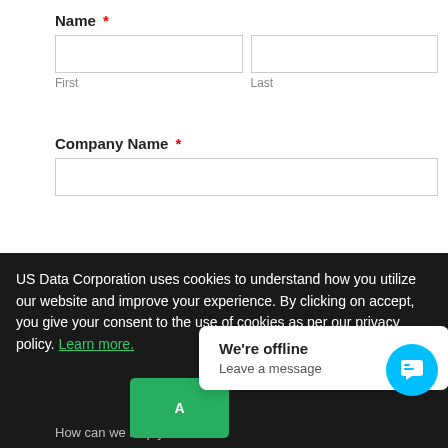Name *
First
Last
Company Name *
Industry *
Email *
US Data Corporation uses cookies to understand how you utilize our website and improve your experience. By clicking on accept, you give your consent to the use of cookies as per our privacy policy. Learn more.
We're offline
Leave a message
How can we help you...